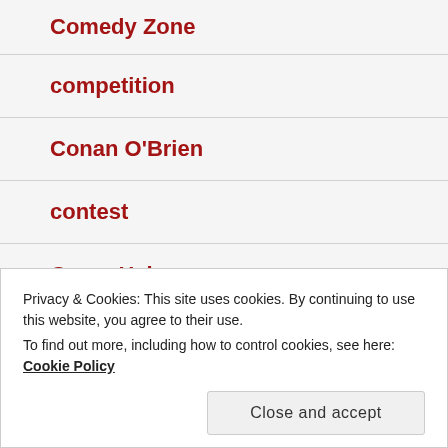Comedy Zone
competition
Conan O'Brien
contest
Corey Haim
costumes
Privacy & Cookies: This site uses cookies. By continuing to use this website, you agree to their use.
To find out more, including how to control cookies, see here: Cookie Policy
crazy